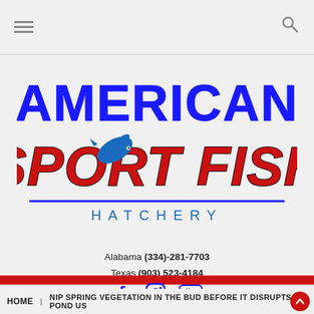Navigation bar with hamburger menu and search icon
[Figure (logo): American Sport Fish Hatchery logo — AMERICAN in bold blue block letters, SPORT FISH in large bold red italic script with a jumping bass fish image integrated as the O in SPORT, HATCHERY in blue spaced capitals underneath, blue underline]
Alabama (334)-281-7703
Texas (903) 523-4184
[Figure (other): Social media icons: Facebook (f), Instagram (camera), YouTube (play button)]
HOME | NIP SPRING VEGETATION IN THE BUD BEFORE IT DISRUPTS POND US…